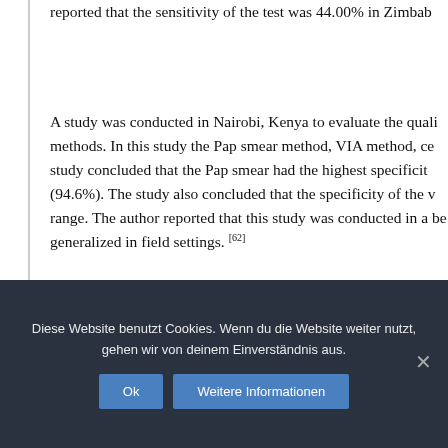reported that the sensitivity of the test was 44.00% in Zimbab…
A study was conducted in Nairobi, Kenya to evaluate the quali… methods. In this study the Pap smear method, VIA method, ce… study concluded that the Pap smear had the highest specificit… (94.6%). The study also concluded that the specificity of the v… range. The author reported that this study was conducted in a… be generalized in field settings. [62]
HPV DNA test
The HPV DNA test has the ability to detect the DNA of the HR… can find the HPV DNA in almost 100% of the invasive cervical… 50% of borderline lesions' samples. In many studies in which…
Diese Website benutzt Cookies. Wenn du die Website weiter nutzt, gehen wir von deinem Einverständnis aus.